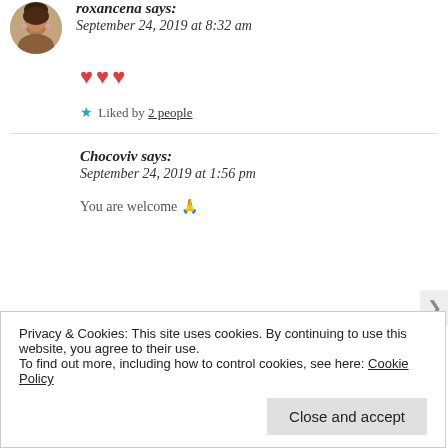roxancena says: September 24, 2019 at 8:32 am
♥♥♥
★ Liked by 2 people
Chocoviv says: September 24, 2019 at 1:56 pm
You are welcome 🙏
Privacy & Cookies: This site uses cookies. By continuing to use this website, you agree to their use.
To find out more, including how to control cookies, see here: Cookie Policy
Close and accept